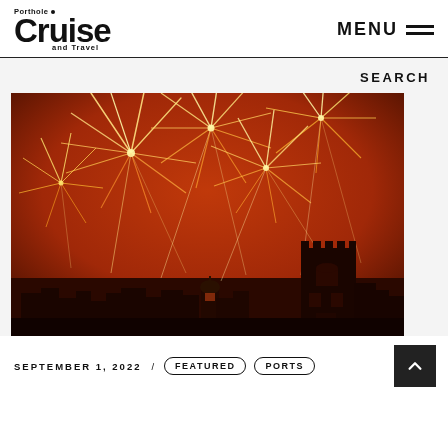Porthole Cruise and Travel — MENU
SEARCH
[Figure (photo): Fireworks display over a city skyline at night with an orange-red sky, featuring a church tower silhouette on the right side.]
SEPTEMBER 1, 2022 / FEATURED PORTS